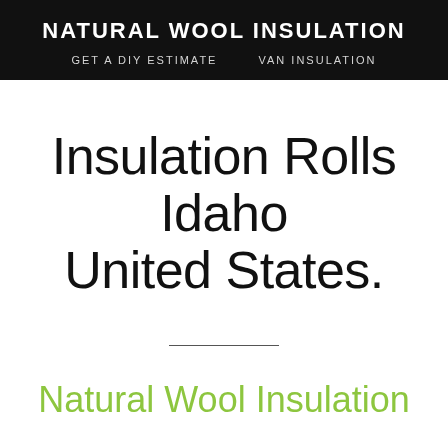NATURAL WOOL INSULATION
GET A DIY ESTIMATE   VAN INSULATION
Insulation Rolls Idaho United States.
Natural Wool Insulation